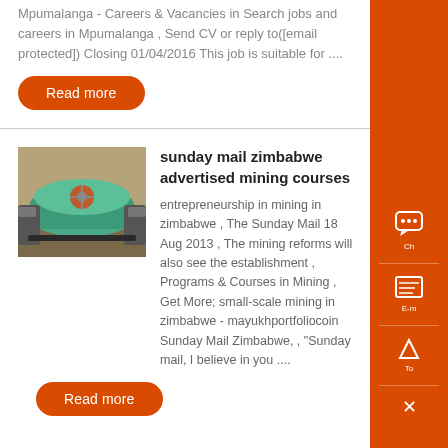Mpumalanga - Careers & Vacancies in Search jobs and careers in Mpumalanga , Send CV or reply to([email protected]) Closing 01/04/2016 This job is suitable for ....
Read more
sunday mail zimbabwe advertised mining courses
[Figure (photo): Industrial mining machine (green ball mill) in a workshop setting]
entrepreneurship in mining in zimbabwe , The Sunday Mail 18 Aug 2013 , The mining reforms will also see the establishment , Programs & Courses in Mining , Get More; small-scale mining in zimbabwe - mayukhportfoliocoin Sunday Mail Zimbabwe, , "Sunday mail, I believe in you ....
Read more
sunday mail zimbabwe advertised
[Figure (photo): Partial image of a device or book, partially cropped]